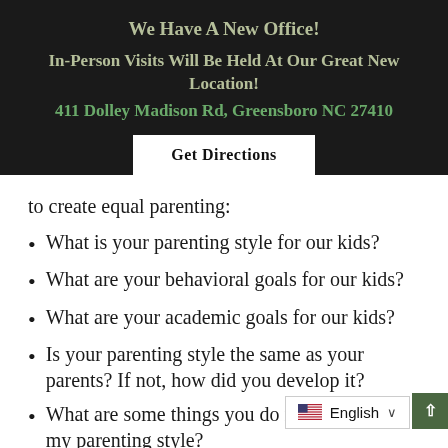We Have A New Office!
In-Person Visits Will Be Held At Our Great New Location!
411 Dolley Madison Rd, Greensboro NC 27410
Get Directions
to create equal parenting:
What is your parenting style for our kids?
What are your behavioral goals for our kids?
What are your academic goals for our kids?
Is your parenting style the same as your parents? If not, how did you develop it?
What are some things you do not like about my parenting style?
What are some things...